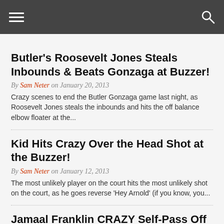Navigation bar with hamburger menu and search icon
Butler’s Roosevelt Jones Steals Inbounds & Beats Gonzaga at Buzzer!
By Sam Neter on January 20, 2013
Crazy scenes to end the Butler Gonzaga game last night, as Roosevelt Jones steals the inbounds and hits the off balance elbow floater at the...
Kid Hits Crazy Over the Head Shot at the Buzzer!
By Sam Neter on January 12, 2013
The most unlikely player on the court hits the most unlikely shot on the court, as he goes reverse ‘Hey Arnold’ (if you know, you...
Jamaal Franklin CRAZY Self-Pass Off the Backboard Dunk!
By Sam Neter on January 11, 2013